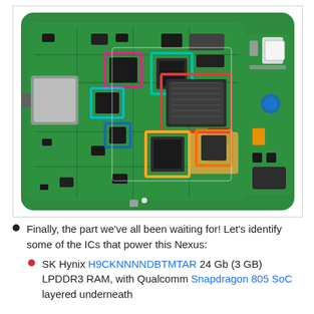[Figure (photo): Overhead photo of a smartphone PCB (likely Nexus 6 or similar) with colored rectangles highlighting various integrated circuits: magenta, teal/green, red, cyan, blue, yellow, and orange squares marking different chips on the green circuit board.]
Finally, the part we've all been waiting for! Let's identify some of the ICs that power this Nexus:
SK Hynix H9CKNNNNDBTMTAR 24 Gb (3 GB) LPDDR3 RAM, with Qualcomm Snapdragon 805 SoC layered underneath